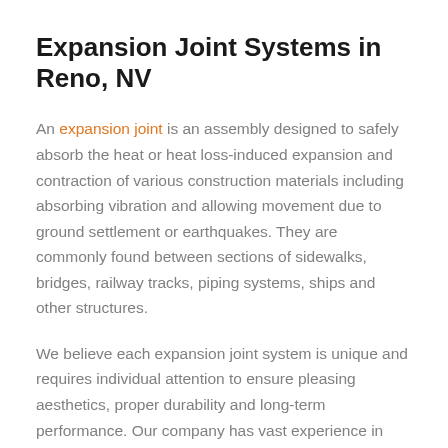Expansion Joint Systems in Reno, NV
An expansion joint is an assembly designed to safely absorb the heat or heat loss-induced expansion and contraction of various construction materials including absorbing vibration and allowing movement due to ground settlement or earthquakes. They are commonly found between sections of sidewalks, bridges, railway tracks, piping systems, ships and other structures.
We believe each expansion joint system is unique and requires individual attention to ensure pleasing aesthetics, proper durability and long-term performance. Our company has vast experience in engineering, estimating and installing interior and exterior expansion joint systems to your exacting